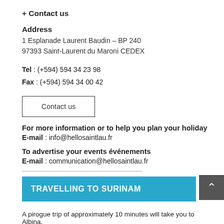+ Contact us
Address
1 Esplanade Laurent Baudin – BP 240
97393 Saint-Laurent du Maroni CEDEX
Tel : (+594) 594 34 23 98
Fax : (+594) 594 34 00 42
Contact us
For more information or to help you plan your holiday
E-mail : info@hellosaintlau.fr
To advertise your events événements
E-mail : communication@hellosaintlau.fr
TRAVELLING TO SURINAM
A pirogue trip of approximately 10 minutes will take you to Albina,